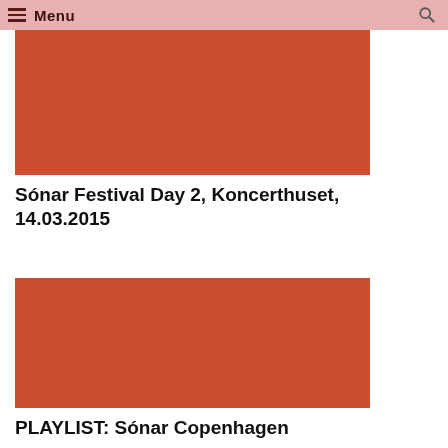Menu
[Figure (photo): Red/orange rectangular image placeholder for Sónar Festival Day 2 article]
Sónar Festival Day 2, Koncerthuset, 14.03.2015
[Figure (photo): Red/orange rectangular image placeholder for PLAYLIST: Sónar Copenhagen article]
PLAYLIST: Sónar Copenhagen
[Figure (illustration): Album cover art showing a white card with a black circle on grey background]